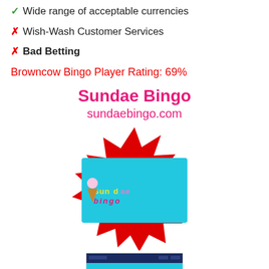✓ Wide range of acceptable currencies
✗ Wish-Wash Customer Services
✗ Bad Betting
Browncow Bingo Player Rating: 69%
Sundae Bingo
sundaebingo.com
[Figure (logo): Sundae Bingo logo on a cyan/turquoise rectangle background, surrounded by a red spiky starburst shape]
[Figure (screenshot): Small partial screenshot of Sundae Bingo website showing the logo on a cyan background with a dark blue top bar]